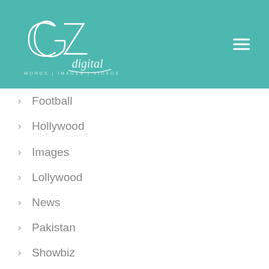[Figure (logo): CG Digital logo with cursive script text and tagline 'WORDS | IMAGES | VIDEOS' on teal background with hamburger menu icon]
Football
Hollywood
Images
Lollywood
News
Pakistan
Showbiz
Sports